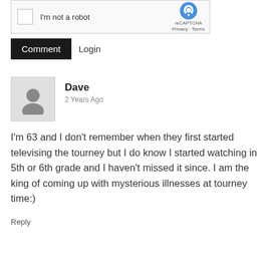[Figure (screenshot): reCAPTCHA widget showing checkbox labeled 'I'm not a robot' with reCAPTCHA logo, Privacy and Terms links]
Comment  Login
Dave
2 Years Ago
I'm 63 and I don't remember when they first started televising the tourney but I do know I started watching in 5th or 6th grade and I haven't missed it since. I am the king of coming up with mysterious illnesses at tourney time:)
Reply